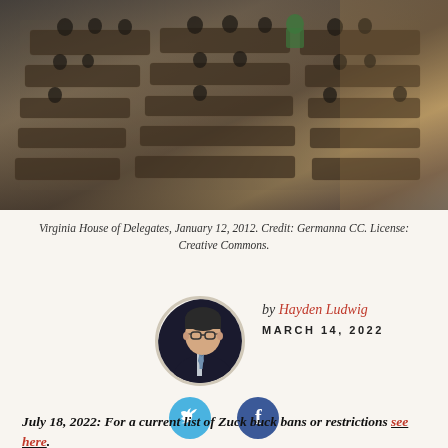[Figure (photo): Aerial view of the Virginia House of Delegates chamber with legislators seated at desks, January 12, 2012]
Virginia House of Delegates, January 12, 2012. Credit: Germanna CC. License: Creative Commons.
[Figure (photo): Circular headshot photo of author Hayden Ludwig]
by Hayden Ludwig
MARCH 14, 2022
[Figure (infographic): Twitter and Facebook social share buttons]
July 18, 2022: For a current list of Zuck buck bans or restrictions see here.